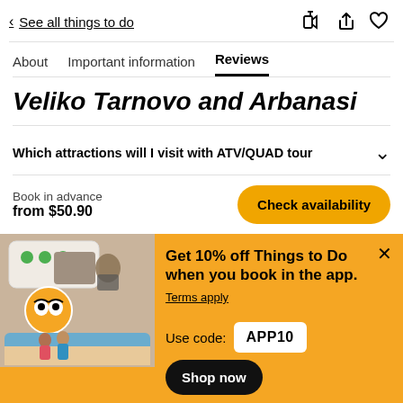< See all things to do
About  Important information  Reviews
Veliko Tarnovo and Arbanasi
Which attractions will I visit with ATV/QUAD tour
Book in advance
from $50.90
Check availability
Get 10% off Things to Do when you book in the app.
Terms apply
Use code: APP10
Shop now